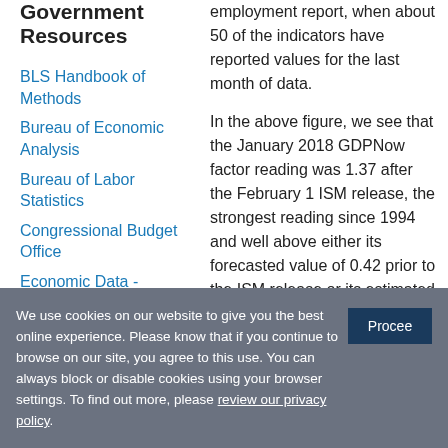Government Resources
BLS Handbook of Methods
Bureau of Economic Analysis
Bureau of Labor Statistics
Congressional Budget Office
Economic Data - FRED® II, St. Louis Fed
employment report, when about 50 of the indicators have reported values for the last month of data.
In the above figure, we see that the January 2018 GDPNow factor reading was 1.37 after the February 1 ISM release, the strongest reading since 1994 and well above either its forecasted value of 0.42 prior to the ISM release or its estimated value of 0.43 after the February 2 employment release. The aforementioned rise and decline in the GDPNow forecast of first-
We use cookies on our website to give you the best online experience. Please know that if you continue to browse on our site, you agree to this use. You can always block or disable cookies using your browser settings. To find out more, please review our privacy policy.